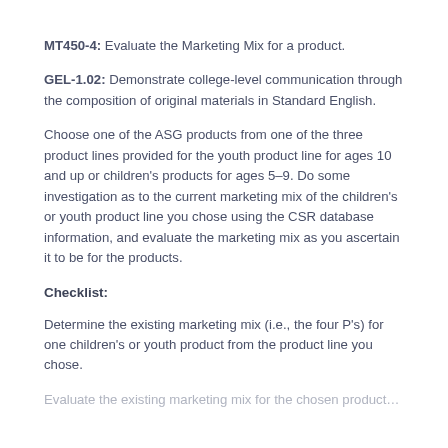MT450-4: Evaluate the Marketing Mix for a product.
GEL-1.02: Demonstrate college-level communication through the composition of original materials in Standard English.
Choose one of the ASG products from one of the three product lines provided for the youth product line for ages 10 and up or children's products for ages 5–9. Do some investigation as to the current marketing mix of the children's or youth product line you chose using the CSR database information, and evaluate the marketing mix as you ascertain it to be for the products.
Checklist:
Determine the existing marketing mix (i.e., the four P's) for one children's or youth product from the product line you chose.